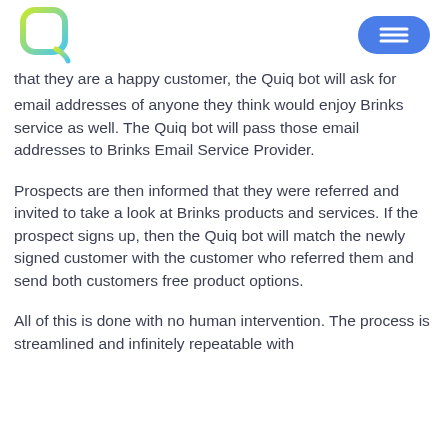Quiq logo and navigation menu button
that they are a happy customer, the Quiq bot will ask for email addresses of anyone they think would enjoy Brinks service as well. The Quiq bot will pass those email addresses to Brinks Email Service Provider.
Prospects are then informed that they were referred and invited to take a look at Brinks products and services. If the prospect signs up, then the Quiq bot will match the newly signed customer with the customer who referred them and send both customers free product options.
All of this is done with no human intervention. The process is streamlined and infinitely repeatable with